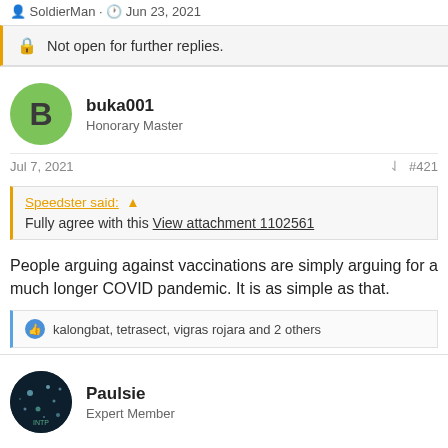SoldierMan · Jun 23, 2021
Not open for further replies.
buka001
Honorary Master
Jul 7, 2021  #421
Speedster said: ↑
Fully agree with this View attachment 1102561
People arguing against vaccinations are simply arguing for a much longer COVID pandemic. It is as simple as that.
kalongbat, tetrasect, vigras rojara and 2 others
Paulsie
Expert Member